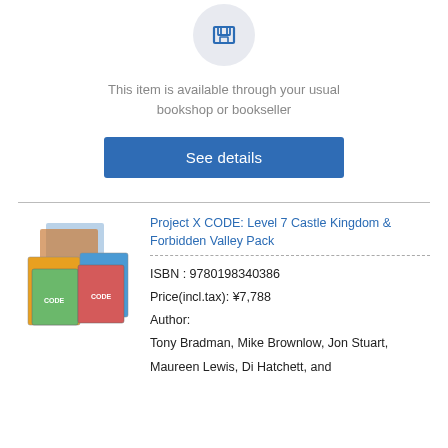[Figure (logo): Publisher/bookshop logo icon in a light grey circle]
This item is available through your usual bookshop or bookseller
See details
[Figure (photo): Collection of Project X CODE book covers arranged in a stack]
Project X CODE: Level 7 Castle Kingdom & Forbidden Valley Pack
ISBN : 9780198340386
Price(incl.tax): ¥7,788
Author:
Tony Bradman, Mike Brownlow, Jon Stuart, Maureen Lewis, Di Hatchett, and